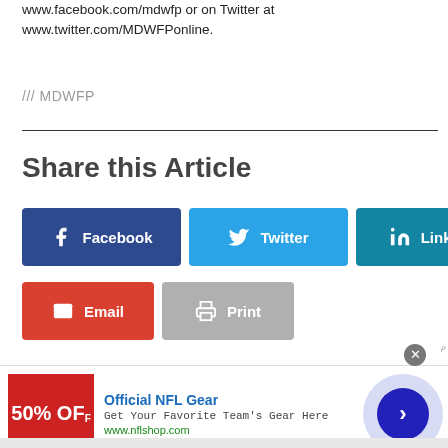www.facebook.com/mdwfp or on Twitter at www.twitter.com/MDWFPonline.
/// MDWFP
Share this Article
Facebook
Twitter
LinkedIn
Email
Print
[Figure (screenshot): Advertisement banner for Official NFL Gear with 50% OFF promotion, nflshop.com URL, and a navigation arrow button]